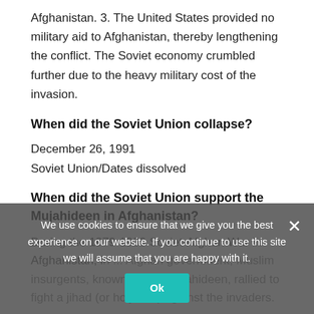Afghanistan. 3. The United States provided no military aid to Afghanistan, thereby lengthening the conflict. The Soviet economy crumbled further due to the heavy military cost of the invasion.
When did the Soviet Union collapse?
December 26, 1991
Soviet Union/Dates dissolved
When did the Soviet Union support the Mujahideen in Afghanistan?
During the 1979-1989 Soviet-Afghan War in Afghanistan, in ... Afghan government, Muslim insurgents, known as the mujahideen, rallied to fight a jihad (or holy war) against the invaders.